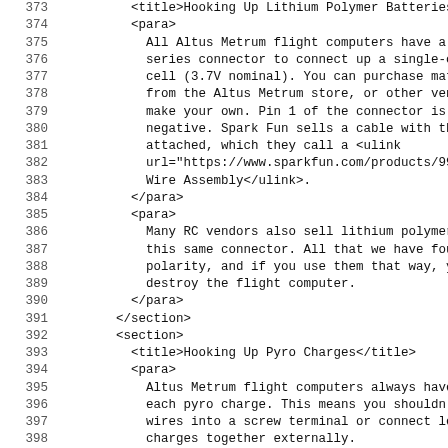Source code listing with line numbers 373-404, showing XML documentation for hooking up lithium polymer batteries and pyro charges for Altus Metrum flight computers.